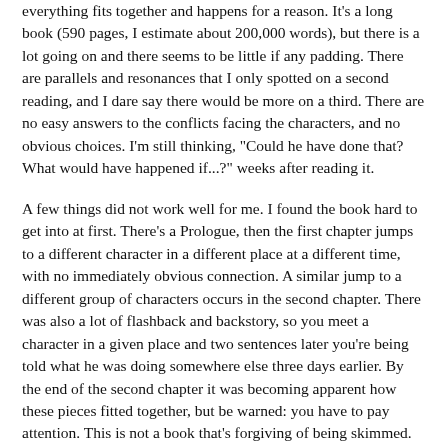everything fits together and happens for a reason. It's a long book (590 pages, I estimate about 200,000 words), but there is a lot going on and there seems to be little if any padding. There are parallels and resonances that I only spotted on a second reading, and I dare say there would be more on a third. There are no easy answers to the conflicts facing the characters, and no obvious choices. I'm still thinking, "Could he have done that? What would have happened if...?" weeks after reading it.
A few things did not work well for me. I found the book hard to get into at first. There's a Prologue, then the first chapter jumps to a different character in a different place at a different time, with no immediately obvious connection. A similar jump to a different group of characters occurs in the second chapter. There was also a lot of flashback and backstory, so you meet a character in a given place and two sentences later you're being told what he was doing somewhere else three days earlier. By the end of the second chapter it was becoming apparent how these pieces fitted together, but be warned: you have to pay attention. This is not a book that's forgiving of being skimmed.